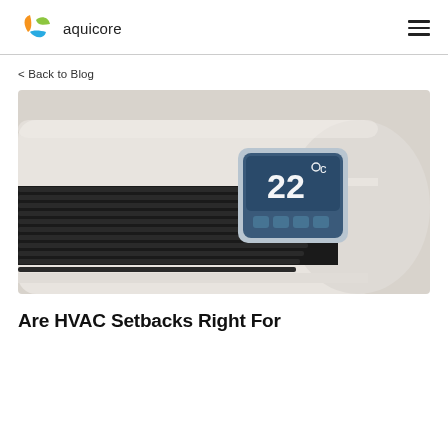aquicore
< Back to Blog
[Figure (photo): Close-up of a wall-mounted HVAC unit with a digital thermostat display showing 22 degrees Celsius, with black ventilation fins visible.]
Are HVAC Setbacks Right For